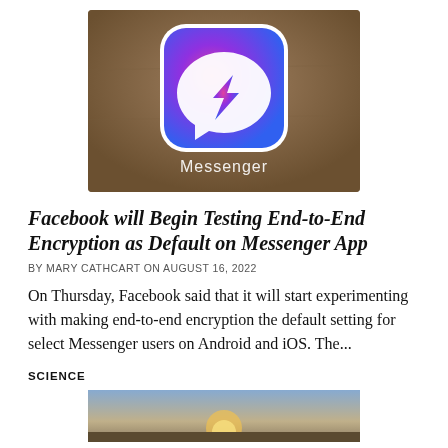[Figure (photo): Close-up photo of a smartphone screen showing the Facebook Messenger app icon (purple-blue gradient with white lightning bolt/chat symbol) with the text 'Messenger' visible below it on the screen]
Facebook will Begin Testing End-to-End Encryption as Default on Messenger App
BY MARY CATHCART ON AUGUST 16, 2022
On Thursday, Facebook said that it will start experimenting with making end-to-end encryption the default setting for select Messenger users on Android and iOS. The...
SCIENCE
[Figure (photo): Partial photo visible at bottom of page, appears to be a science-related image]